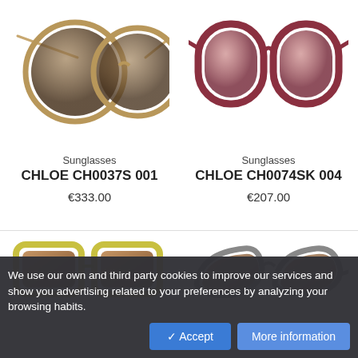[Figure (photo): Photo of Chloe CH0037S 001 sunglasses — round gold-frame sunglasses with brown gradient lenses, partially cropped at top]
[Figure (photo): Photo of Chloe CH0074SK 004 sunglasses — round dark red/burgundy frame sunglasses with pink-brown lenses, partially cropped at top]
Sunglasses
CHLOE CH0037S 001
€333.00
Sunglasses
CHLOE CH0074SK 004
€207.00
[Figure (photo): Photo of a pair of sunglasses with yellow/olive rectangular frames and brown lenses — bottom portion visible]
[Figure (photo): Photo of cat-eye style sunglasses with grey frames and brown lenses — partially visible]
We use our own and third party cookies to improve our services and show you advertising related to your preferences by analyzing your browsing habits.